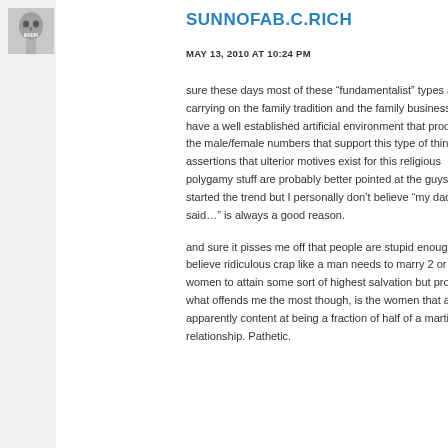[Figure (photo): Small grayscale avatar photo of a person showing teeth/skull-like appearance]
SUNNOFAB.C.RICH
MAY 13, 2010 AT 10:24 PM
sure these days most of these “fundamentalist” types are just carrying on the family tradition and the family business and have a well established artificial environment that produces the male/female numbers that support this type of thing. My assertions that ulterior motives exist for this religious polygamy stuff are probably better pointed at the guys that started the trend but I personally don’t believe “my daddy said…” is always a good reason.
and sure it pisses me off that people are stupid enough to believe ridiculous crap like a man needs to marry 2 or 3 women to attain some sort of highest salvation but probably what offends me the most though, is the women that are apparently content at being a fraction of half of a martial relationship. Pathetic.